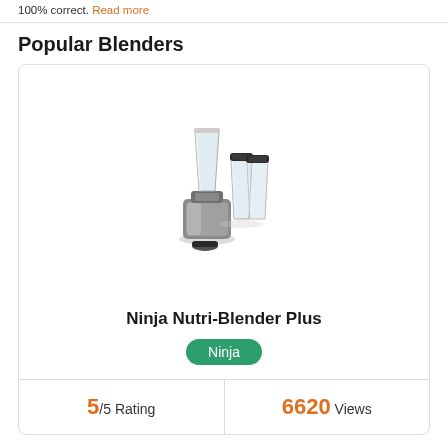100% correct. Read more
Popular Blenders
[Figure (photo): Ninja Nutri-Blender Plus product photo showing blender base with cups and lids]
Ninja Nutri-Blender Plus
Ninja
5/5 Rating
6620 Views